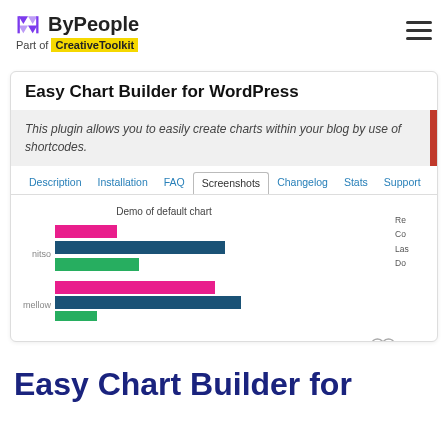ByPeople — Part of CreativeToolkit
Easy Chart Builder for WordPress
This plugin allows you to easily create charts within your blog by use of shortcodes.
Description  Installation  FAQ  Screenshots  Changelog  Stats  Support  Reviews
[Figure (bar-chart): Demo of default chart]
Easy Chart Builder for